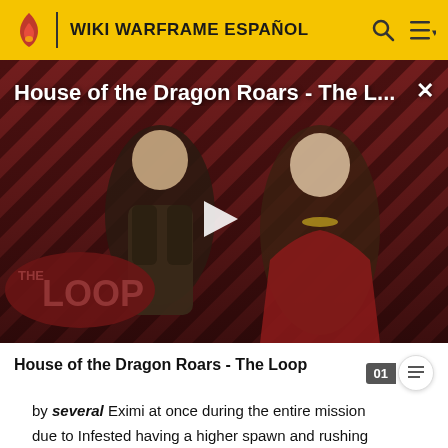WIKI WARFRAME ESPAÑOL
[Figure (screenshot): Video thumbnail for 'House of the Dragon Roars - The Loop' showing two characters from House of the Dragon against a diagonal red and black striped background, with a play button overlay and 'THE LOOP' badge in the lower left.]
House of the Dragon Roars - The Loop
by several Eximi at once during the entire mission due to Infested having a higher spawn and rushing rate.